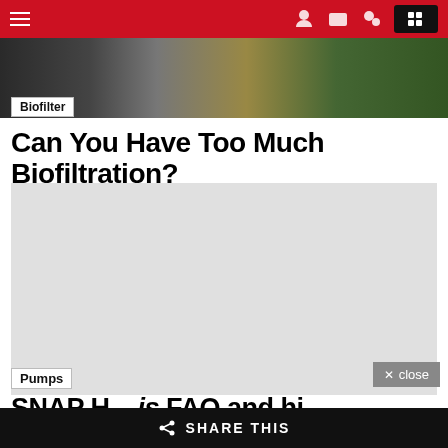Navigation bar with hamburger menu and icons
[Figure (photo): Top banner photo showing a person with aquarium/aquaponics equipment, plants and tanks visible]
Biofilter
Can You Have Too Much Biofiltration?
[Figure (other): Gray placeholder block for video or advertisement content]
Pumps
SNAP H... (partial headline, cut off)
SHARE THIS